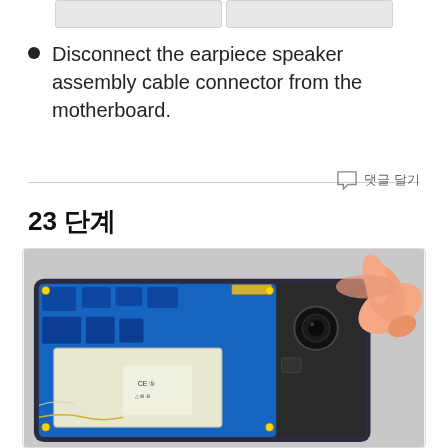[Figure (photo): Top portion of two phone component images partially visible at top of page]
Disconnect the earpiece speaker assembly cable connector from the motherboard.
댓글 달기
23 단계
[Figure (photo): Photo of a smartphone motherboard being worked on, showing a hand pressing on the top corner. The board is blue with various chips, a battery, and electronic components visible.]